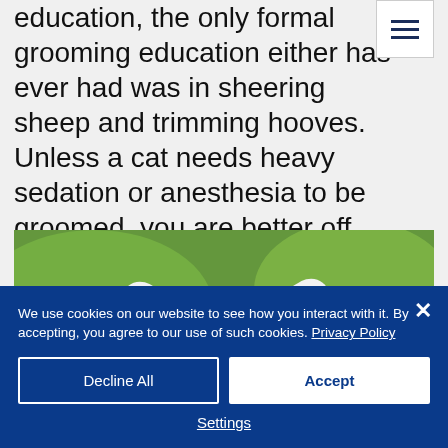education, the only formal grooming education either has ever had was in sheering sheep and trimming hooves. Unless a cat needs heavy sedation or anesthesia to be groomed, you are better off with a groomer.
[Figure (photo): Close-up photo of a lamb/sheep from behind showing the back of its white woolly head with two red-tinged ears, against a green blurred background.]
We use cookies on our website to see how you interact with it. By accepting, you agree to our use of such cookies. Privacy Policy
Decline All
Accept
Settings